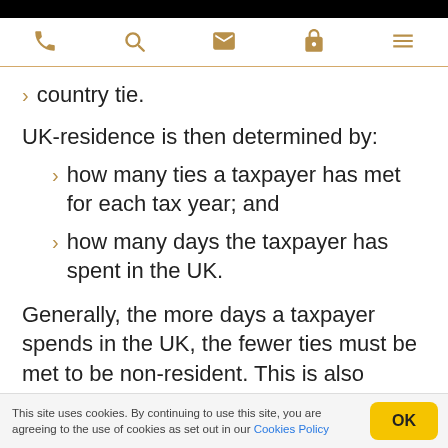Navigation bar with phone, search, email, lock, and menu icons
country tie.
UK-residence is then determined by:
how many ties a taxpayer has met for each tax year; and
how many days the taxpayer has spent in the UK.
Generally, the more days a taxpayer spends in the UK, the fewer ties must be met to be non-resident. This is also affected by whether the
This site uses cookies. By continuing to use this site, you are agreeing to the use of cookies as set out in our Cookies Policy